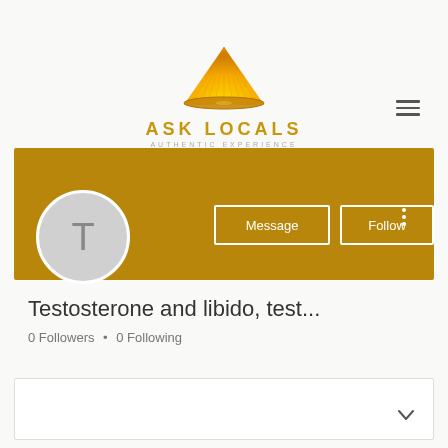[Figure (logo): Ask Locals logo with golden conical hat shape and text ASK LOCALS AUTHENTIC EXPERIENCE]
[Figure (other): Hamburger menu icon (three horizontal lines)]
[Figure (other): Gold/dark-yellow profile banner background with Message and Follow buttons, plus vertical dots menu]
[Figure (other): Circular grey avatar with letter T]
Testosterone and libido, test...
0 Followers • 0 Following
[Figure (other): Empty white box with chevron/dropdown arrow at bottom right]